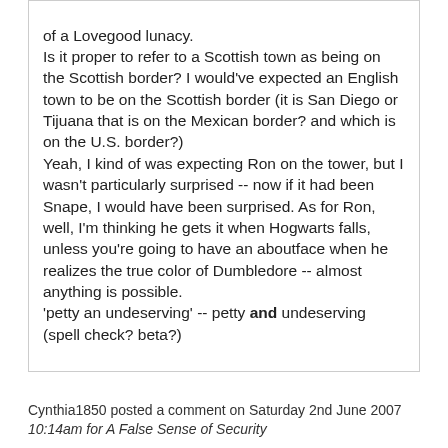of a Lovegood lunacy. Is it proper to refer to a Scottish town as being on the Scottish border? I would've expected an English town to be on the Scottish border (it is San Diego or Tijuana that is on the Mexican border? and which is on the U.S. border?) Yeah, I kind of was expecting Ron on the tower, but I wasn't particularly surprised -- now if it had been Snape, I would have been surprised. As for Ron, well, I'm thinking he gets it when Hogwarts falls, unless you're going to have an aboutface when he realizes the true color of Dumbledore -- almost anything is possible. 'petty an undeserving' -- petty and undeserving (spell check? beta?)
Cynthia1850 posted a comment on Saturday 2nd June 2007 10:14am for A False Sense of Security